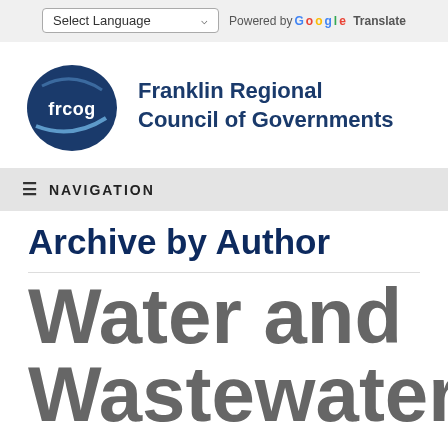Select Language  Powered by Google Translate
[Figure (logo): FRCOG Franklin Regional Council of Governments logo — dark blue oval with 'frcog' text and swoosh]
Franklin Regional Council of Governments
NAVIGATION
Archive by Author
Water and Wastewater